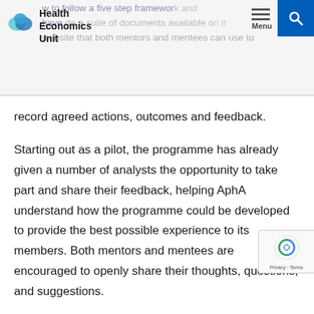Health Economics Unit — how to follow a five step framework and have made a suite of documents available on it website that both mentors and mentees can use to record agreed actions, outcomes and feedback.
record agreed actions, outcomes and feedback.
Starting out as a pilot, the programme has already given a number of analysts the opportunity to take part and share their feedback, helping AphA understand how the programme could be developed to provide the best possible experience to its members. Both mentors and mentees are encouraged to openly share their thoughts, questions, and suggestions.
Feedback from participants
Mentees